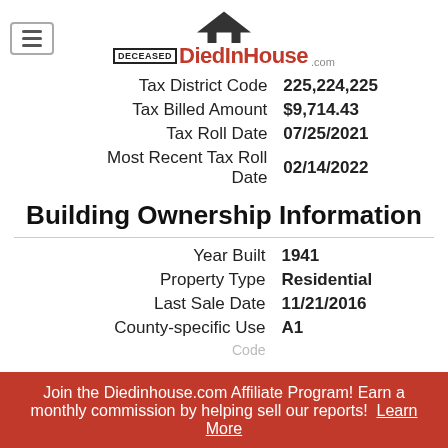[Figure (logo): DiedInHouse.com logo with house icon, DECEASED label, and red DiedInHouse text]
| Tax District Code | 225,224,225 |
| Tax Billed Amount | $9,714.43 |
| Tax Roll Date | 07/25/2021 |
| Most Recent Tax Roll Date | 02/14/2022 |
Building Ownership Information
| Year Built | 1941 |
| Property Type | Residential |
| Last Sale Date | 11/21/2016 |
| County-specific Use Code | A1 |
Join the Diedinhouse.com Affiliate Program! Earn a monthly commission by helping sell our reports! Learn More